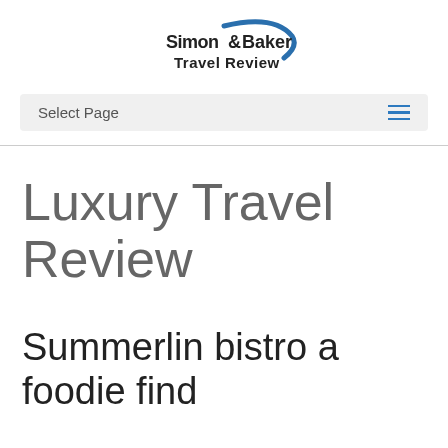[Figure (logo): Simon & Baker Travel Review logo with stylized text and blue curved swoosh]
Select Page
Luxury Travel Review
Summerlin bistro a foodie find